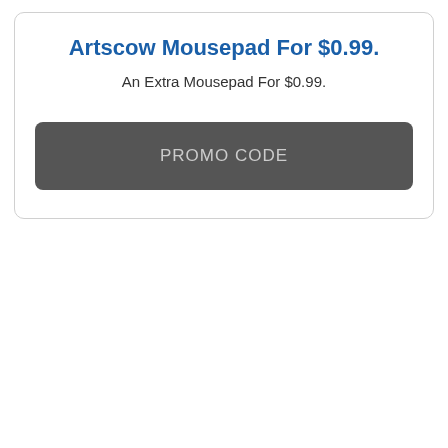Artscow Mousepad For $0.99.
An Extra Mousepad For $0.99.
PROMO CODE